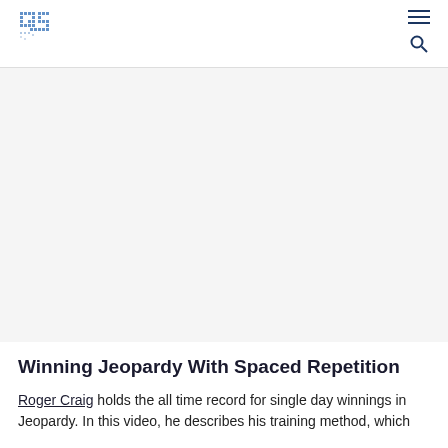QS logo with hamburger menu and search icon
[Figure (photo): Large image placeholder area showing a video or article hero image for the Jeopardy spaced repetition article]
Winning Jeopardy With Spaced Repetition
Roger Craig holds the all time record for single day winnings in Jeopardy. In this video, he describes his training method, which